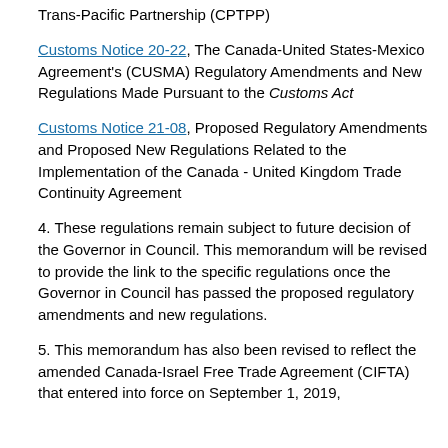Trans-Pacific Partnership (CPTPP)
Customs Notice 20-22, The Canada-United States-Mexico Agreement's (CUSMA) Regulatory Amendments and New Regulations Made Pursuant to the Customs Act
Customs Notice 21-08, Proposed Regulatory Amendments and Proposed New Regulations Related to the Implementation of the Canada - United Kingdom Trade Continuity Agreement
4. These regulations remain subject to future decision of the Governor in Council. This memorandum will be revised to provide the link to the specific regulations once the Governor in Council has passed the proposed regulatory amendments and new regulations.
5. This memorandum has also been revised to reflect the amended Canada-Israel Free Trade Agreement (CIFTA) that entered into force on September 1, 2019,